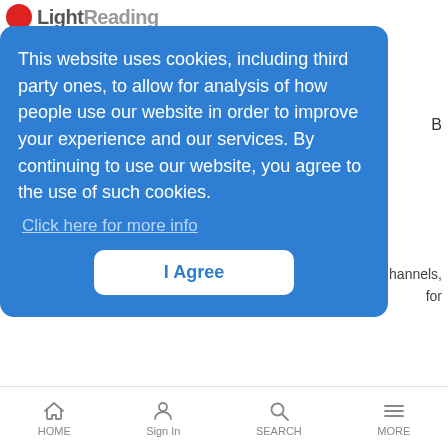Light Reading
This website uses cookies, including third party ones, to allow for analysis of how people use our website in order to improve your experience and our services. By continuing to use our website, you agree to the use of such cookies. Click here for more info
I Agree
loud, allowing enterprises to use any data, regardless of where it resides, for personalized customer experiences.
Will Salesforce Splash $6B+ for MuleSoft?
News Analysis | 3/20/2018
Deal would extend Salesforce into API management.
HOME  Sign In  SEARCH  MORE